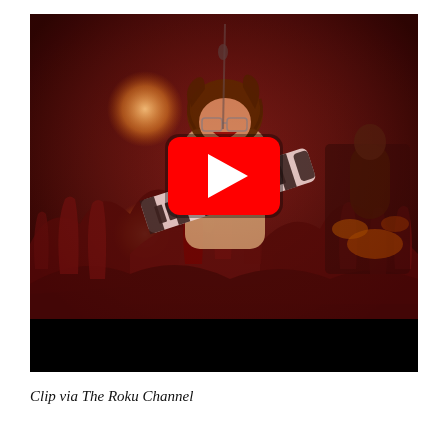[Figure (screenshot): A YouTube video thumbnail showing a performer playing a keytar on a concert stage with a crowd in front, arms raised. A YouTube play button overlay is centered on the image. The stage has dramatic red and warm lighting with drum kit visible in background. A black letterbox bar appears at the bottom of the image.]
Clip via The Roku Channel